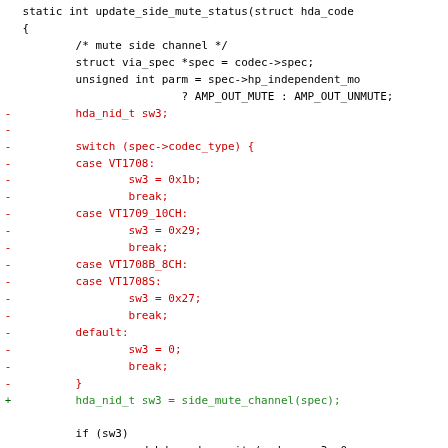Code diff showing update_side_mute_status function with removal of switch statement and replacement with side_mute_channel(spec) call